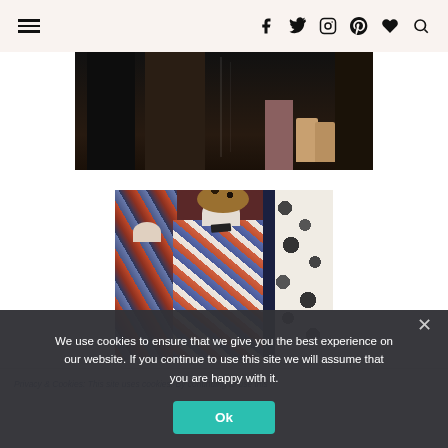Navigation header with hamburger menu and social/search icons (f, twitter, instagram, pinterest, heart, search)
[Figure (photo): Dark museum exhibit display case showing clothing items and footwear on display, partially cropped at top]
[Figure (photo): Museum fashion exhibit with three mannequins: left in colorful patterned jacket, center in geometric print blouse with neck bow and leopard-print hat, right in black and white floral coat]
Privacy & Cookies: This site uses cookies. By continuing to use this
We use cookies to ensure that we give you the best experience on our website. If you continue to use this site we will assume that you are happy with it.
Ok